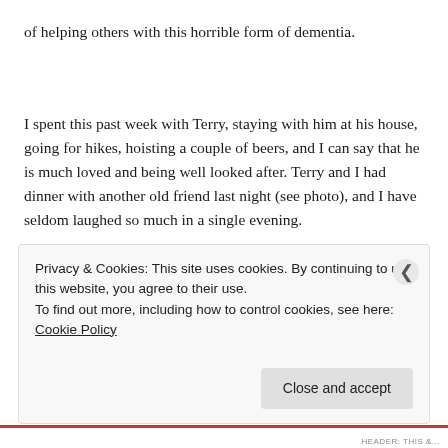of helping others with this horrible form of dementia.
I spent this past week with Terry, staying with him at his house, going for hikes, hoisting a couple of beers, and I can say that he is much loved and being well looked after. Terry and I had dinner with another old friend last night (see photo), and I have seldom laughed so much in a single evening.
Privacy & Cookies: This site uses cookies. By continuing to use this website, you agree to their use.
To find out more, including how to control cookies, see here: Cookie Policy
Close and accept